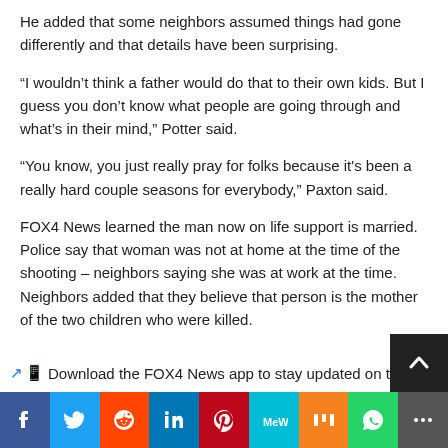He added that some neighbors assumed things had gone differently and that details have been surprising.
“I wouldn’t think a father would do that to their own kids. But I guess you don’t know what people are going through and what’s in their mind,” Potter said.
“You know, you just really pray for folks because it's been a really hard couple seasons for everybody,” Paxton said.
FOX4 News learned the man now on life support is married. Police say that woman was not at home at the time of the shooting – neighbors saying she was at work at the time. Neighbors added that they believe that person is the mother of the two children who were killed.
↗📱 Download the FOX4 News app to stay updated on the
Facebook | Twitter | Reddit | LinkedIn | Pinterest | MeWe | Mix | WhatsApp | More